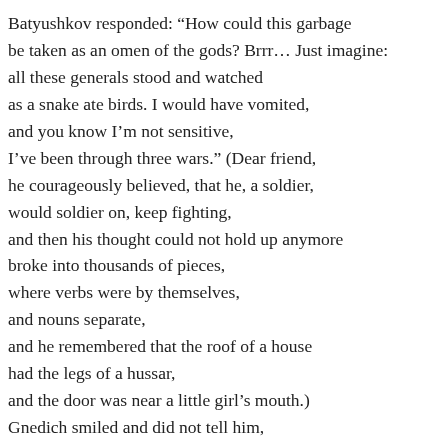Batyushkov responded: “How could this garbage
be taken as an omen of the gods? Brrr… Just imagine:
all these generals stood and watched
as a snake ate birds. I would have vomited,
and you know I’m not sensitive,
I’ve been through three wars.” (Dear friend,
he courageously believed, that he, a soldier,
would soldier on, keep fighting,
and then his thought could not hold up anymore
broke into thousands of pieces,
where verbs were by themselves,
and nouns separate,
and he remembered that the roof of a house
had the legs of a hussar,
and the door was near a little girl’s mouth.)
Gnedich smiled and did not tell him,
how in the village Mikolka lead him into the woods
to search for frogs,
when they, as he said, were goin’ ’bout marriage